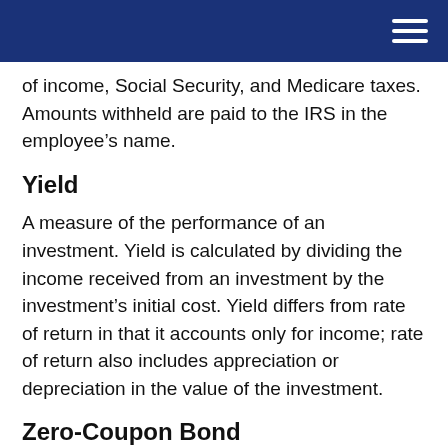of income, Social Security, and Medicare taxes. Amounts withheld are paid to the IRS in the employee’s name.
Yield
A measure of the performance of an investment. Yield is calculated by dividing the income received from an investment by the investment’s initial cost. Yield differs from rate of return in that it accounts only for income; rate of return also includes appreciation or depreciation in the value of the investment.
Zero-Coupon Bond
A bond that does not pay interest during its life. Zero-coupon bonds are purchased at a discount from their face value. When a zero-coupon bond matures, the investor receives the face value of the bond. The